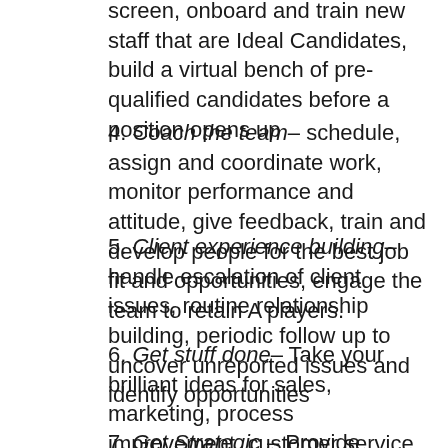screen, onboard and train new staff that are Ideal Candidates, build a virtual bench of pre-qualified candidates before a position opens up
4. Coach the team– schedule, assign and coordinate work, monitor performance and attitude, give feedback, train and develop people for the best job fit and opportunities, engage the team to retain A players.
5. Client experience building– handle escalation of client issues, routine relationship building, periodic follow up to uncover unreported issues and identify opportunities
6. Get stuff done– Take your brilliant ideas for sales, marketing, process improvement, customer service and work with you to implement them
7. Get Strategic – Provide another viewpoint and involvement input in annual goal setting, then